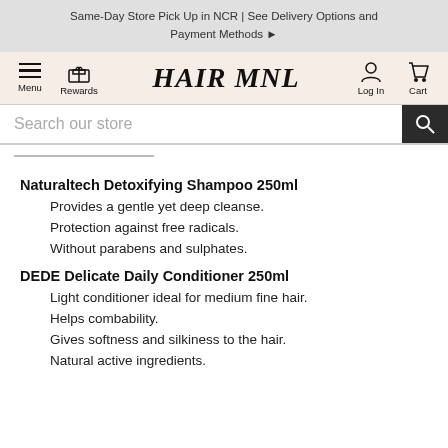Same-Day Store Pick Up in NCR | See Delivery Options and Payment Methods ▶
[Figure (screenshot): HairMNL website navigation header with Menu, Rewards, HAIR MNL logo, Log In, and Cart icons]
Search our store
Naturaltech Detoxifying Shampoo 250ml
Provides a gentle yet deep cleanse.
Protection against free radicals.
Without parabens and sulphates.
DEDE Delicate Daily Conditioner 250ml
Light conditioner ideal for medium fine hair.
Helps combability.
Gives softness and silkiness to the hair.
Natural active ingredients.